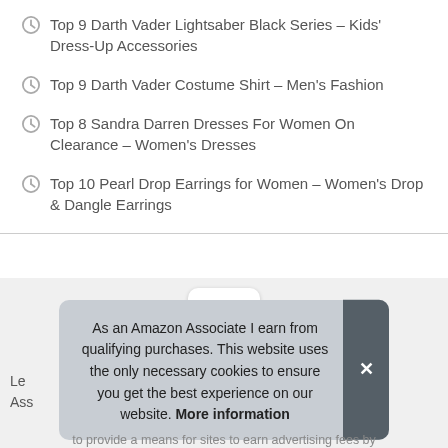Top 9 Darth Vader Lightsaber Black Series – Kids' Dress-Up Accessories
Top 9 Darth Vader Costume Shirt – Men's Fashion
Top 8 Sandra Darren Dresses For Women On Clearance – Women's Dresses
Top 10 Pearl Drop Earrings for Women – Women's Drop & Dangle Earrings
[Figure (other): Scroll-to-top button with upward chevron arrow]
As an Amazon Associate I earn from qualifying purchases. This website uses the only necessary cookies to ensure you get the best experience on our website. More information
to provide a means for sites to earn advertising fees by